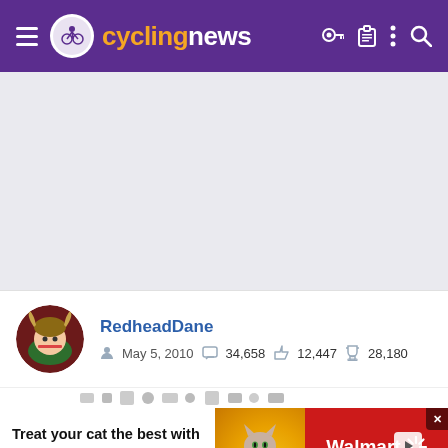cyclingnews
[Figure (screenshot): Gray/light purple empty content area placeholder]
RedheadDane
May 5, 2010  34,658  12,447  28,180
[Figure (photo): Partial row of social sharing icons cut off at bottom]
[Figure (infographic): Advertisement banner: Treat your cat the best with Delectables cat treats - Walmart]